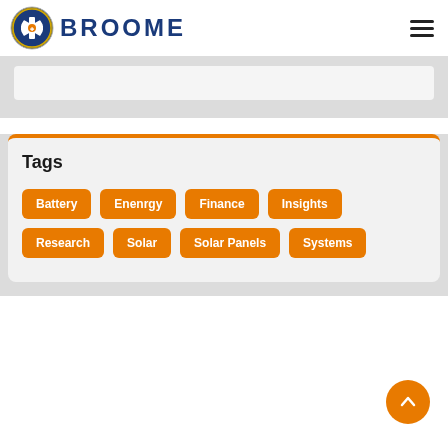BROOME
Tags
Battery
Enenrgy
Finance
Insights
Research
Solar
Solar Panels
Systems